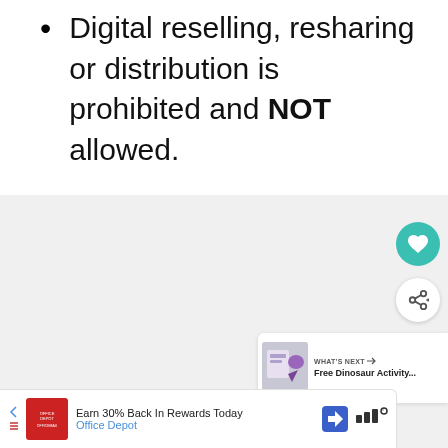Digital reselling, resharing or distribution is prohibited and NOT allowed.
[Figure (screenshot): Gray section with UI elements: heart/favorite button (teal circle), share button (white circle), and a 'What's Next' card showing 'Free Dinosaur Activity...' with a thumbnail image.]
[Figure (infographic): Advertisement bar at the bottom: Office Depot ad reading 'Earn 30% Back In Rewards Today' with Office Depot branding, a navigation arrow icon, and a sound/speaker icon on the right.]